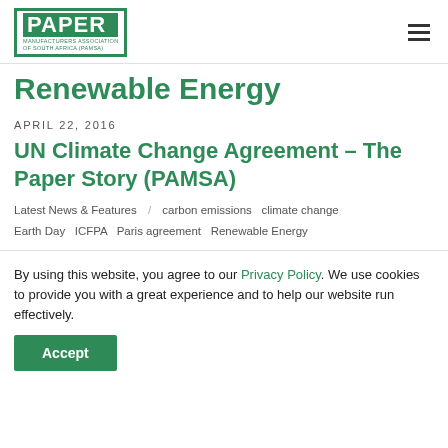PAPER MANUFACTURERS ASSOCIATION OF SOUTH AFRICA (PAMSA)
Renewable Energy
APRIL 22, 2016
UN Climate Change Agreement – The Paper Story (PAMSA)
Latest News & Features / carbon emissions  climate change  Earth Day  ICFPA  Paris agreement  Renewable Energy
By using this website, you agree to our Privacy Policy. We use cookies to provide you with a great experience and to help our website run effectively.
Accept